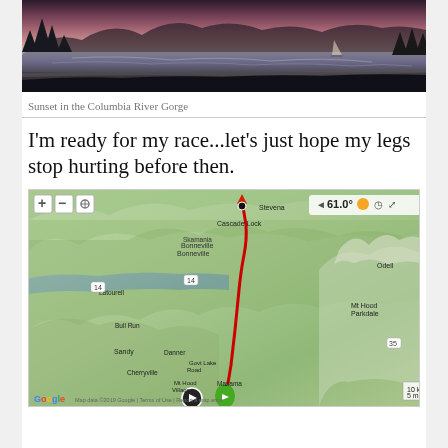[Figure (photo): Sunset over the Columbia River Gorge, showing water, silhouetted trees and mountains against a twilight sky]
Sunset in the Columbia River Gorge
I'm ready for my race...let's just hope my legs stop hurting before then.
[Figure (map): Google map screenshot showing a race route traced in red from near Cascade Locks/Steven area south to Government Camp/Mt Hood area, with weather showing 61.0 degrees. Map includes terrain view of the Columbia River Gorge and Mt Hood region.]